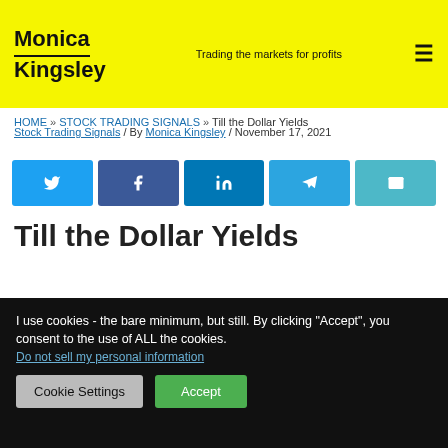Monica Kingsley — Trading the markets for profits
HOME » STOCK TRADING SIGNALS » Till the Dollar Yields
Stock Trading Signals / By Monica Kingsley / November 17, 2021
[Figure (other): Social share buttons: Twitter, Facebook, LinkedIn, Telegram, Email]
Till the Dollar Yields
I use cookies - the bare minimum, but still. By clicking "Accept", you consent to the use of ALL the cookies. Do not sell my personal information
Cookie Settings  Accept